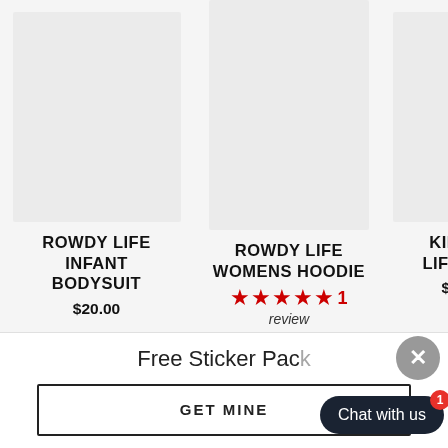[Figure (photo): Product image placeholder (light gray rectangle) for Rowdy Life Infant Bodysuit]
ROWDY LIFE INFANT BODYSUIT
$20.00
[Figure (photo): Product image placeholder (light gray rectangle) for Rowdy Life Womens Hoodie]
ROWDY LIFE WOMENS HOODIE
★★★★★ 1 review
$50.00
[Figure (photo): Partial product image placeholder for Kids Rowdy Life item]
KIDS LIFE
$4...
Free Sticker Pack
GET MINE
Chat with us